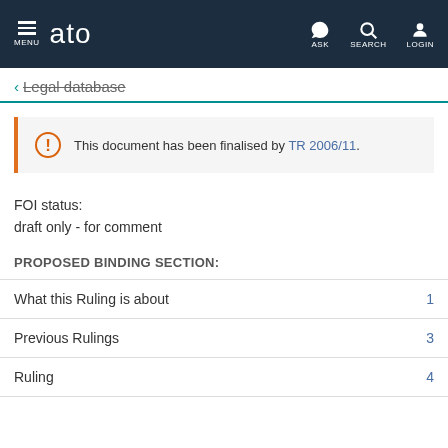MENU | ato | ASK | SEARCH | LOGIN
← Legal database
This document has been finalised by TR 2006/11.
FOI status:
draft only - for comment
PROPOSED BINDING SECTION:
What this Ruling is about  1
Previous Rulings  3
Ruling  4